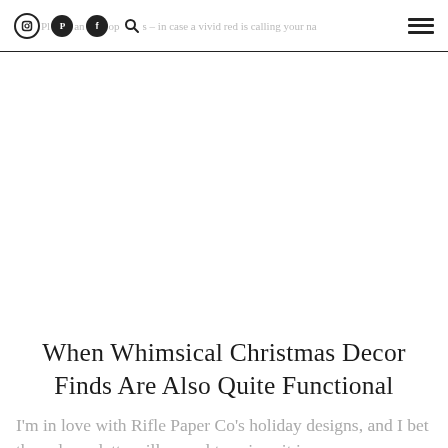– in case a vivid red is calling your name
[Figure (other): White blank space area representing an image placeholder]
When Whimsical Christmas Decor Finds Are Also Quite Functional
I'm in love with Rifle Paper Co's holiday designs, and I bet the color palette will appeal too since it is